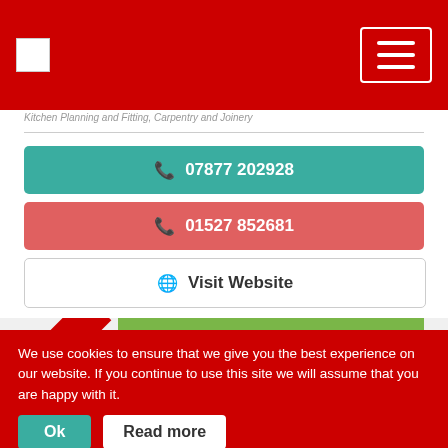[Figure (screenshot): Red navigation header bar with white logo placeholder on left and hamburger menu button on right]
Kitchen Planning and Fitting, Carpentry and Joinery
📞 07877 202928
📞 01527 852681
🌐 Visit Website
[Figure (illustration): Audio Visual Installations - Bespoke Supplier & Installer banner with green background and Highly Rated ribbon badge]
We use cookies to ensure that we give you the best experience on our website. If you continue to use this site we will assume that you are happy with it.
Ok
Read more